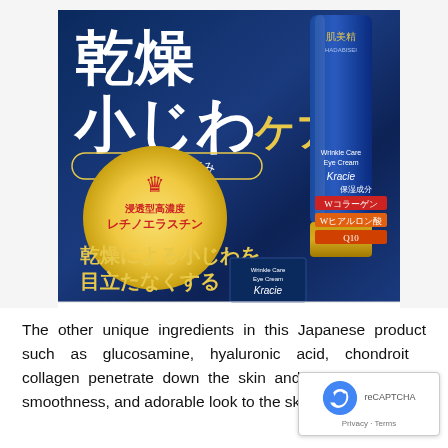[Figure (photo): Kracie Hadabisei Wrinkle Care Eye Cream product photo — dark navy blue packaging with large Japanese kanji text '乾燥小じわケア' (dry wrinkle care) in white and gold, an oval badge '効能評価試験済み', a gold circle with red crown and Japanese text '浸透型高濃度レチノエラスチン', gold Japanese text '乾燥による小じわを目立たなくする', and a blue tube with gold cap labeled 'Wrinkle Care Eye Cream Kracie', with red/orange ingredient badges showing Wコラーゲン, Wヒアルロン酸, Q10.]
The other unique ingredients in this Japanese product such as glucosamine, hyaluronic acid, chondroitin collagen penetrate down the skin and deliver firmness, smoothness, and adorable look to the skin. It gives...